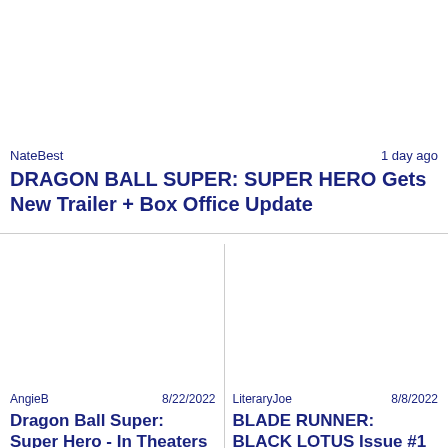NateBest	1 day ago
DRAGON BALL SUPER: SUPER HERO Gets New Trailer + Box Office Update
AngieB	8/22/2022
Dragon Ball Super: Super Hero - In Theaters Now! Fresh New Trailer And Key
LiteraryJoe	8/8/2022
BLADE RUNNER: BLACK LOTUS Issue #1 Launches This Week And Picks Up